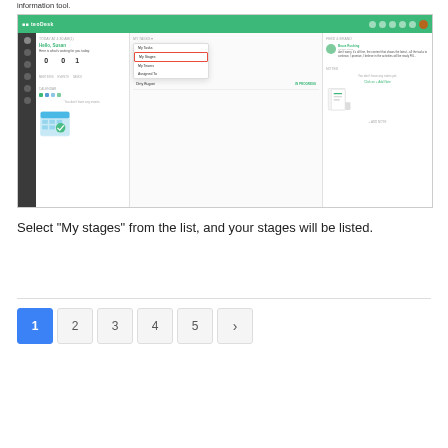information tool.
[Figure (screenshot): Screenshot of TeoDesk application dashboard showing 'My Tasks' dropdown with 'My Stages' option highlighted in red border, calendar section, notes panel, and feed section]
Select “My stages” from the list, and your stages will be listed.
1 2 3 4 5 >